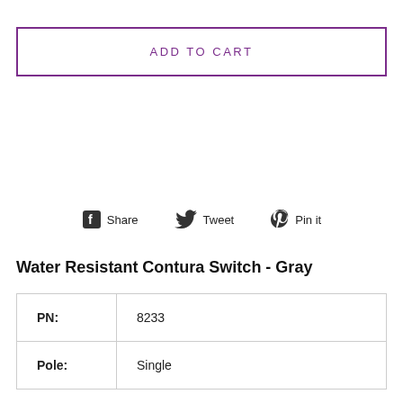ADD TO CART
Share  Tweet  Pin it
Water Resistant Contura Switch - Gray
| PN: | 8233 |
| Pole: | Single |